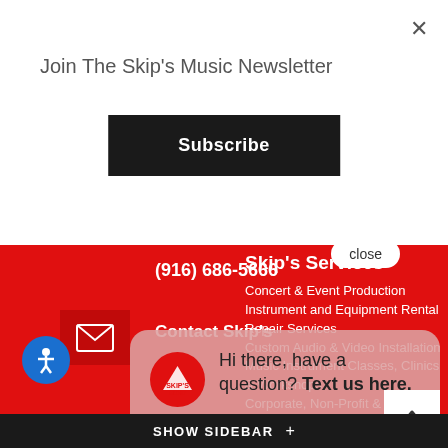×
Join The Skip's Music Newsletter
Subscribe
(916) 686-5666
[Figure (illustration): Red envelope/mail icon in dark red box]
Contact Skip's
[Figure (illustration): Blue circle accessibility icon with person figure]
Skip's Services
Concert & Event Production
Instrument and Equipment Rental
Repair Services
Custom Audio & Video Installation
Music Instrument Classes, Clinics & Workshops
Corporate, Non-Profit & Governmental Event Services
[Figure (screenshot): Chat bubble overlay with Skip's Music logo and text: Hi there, have a question? Text us here. With close button.]
close
SHOW SIDEBAR +